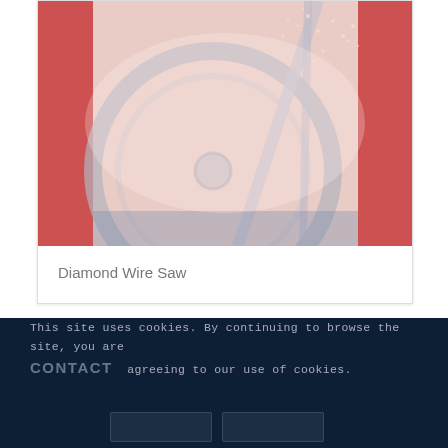[Figure (photo): Close-up photo of a diamond wire saw in operation, showing a circular saw blade with red machinery frame, with sparks or particles flying. The image has a washed-out, faded pinkish-red color tone.]
Diamond Wire Saw
This site uses cookies. By continuing to browse the site, you are agreeing to our use of cookies. CONTACT